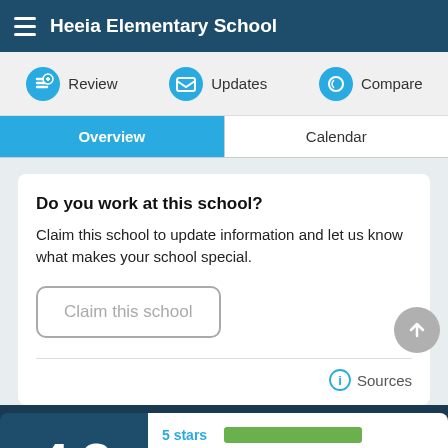Heeia Elementary School
Review | Updates | Compare
Overview | Calendar
Do you work at this school?
Claim this school to update information and let us know what makes your school special.
Claim this school
Sources
4.2
5 stars
4 stars